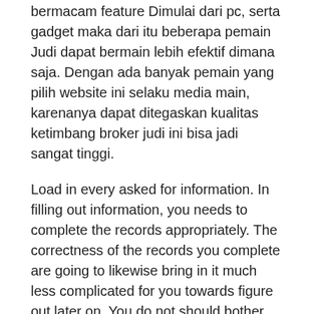bermacam feature Dimulai dari pc, serta gadget maka dari itu beberapa pemain Judi dapat bermain lebih efektif dimana saja. Dengan ada banyak pemain yang pilih website ini selaku media main, karenanya dapat ditegaskan kualitas ketimbang broker judi ini bisa jadi sangat tinggi.
Load in every asked for information. In filling out information, you needs to complete the records appropriately. The correctness of the records you complete are going to likewise bring in it much less complicated for you towards figure out later on. You do not should bother with the information given. The factor is actually, all of records is actually assured safety and security. Internet wagering doesn't leakage participant information towards 3rd parties.
Sekian lama ini sudah tentu transfer bank sebagai trik yang teramat banyak dipakai buat lakukan deposit. Saat Anda jadi peserta dari Judi online, pengisian deposit